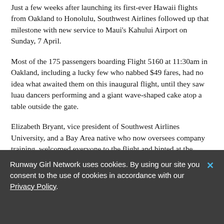Just a few weeks after launching its first-ever Hawaii flights from Oakland to Honolulu, Southwest Airlines followed up that milestone with new service to Maui's Kahului Airport on Sunday, 7 April.
Most of the 175 passengers boarding Flight 5160 at 11:30am in Oakland, including a lucky few who nabbed $49 fares, had no idea what awaited them on this inaugural flight, until they saw luau dancers performing and a giant wave-shaped cake atop a table outside the gate.
Elizabeth Bryant, vice president of Southwest Airlines University, and a Bay Area native who now oversees company training, welcomed everyone to the flight and hinted at the festivities on board.
Runway Girl Network uses cookies. By using our site you consent to the use of cookies in accordance with our Privacy Policy.